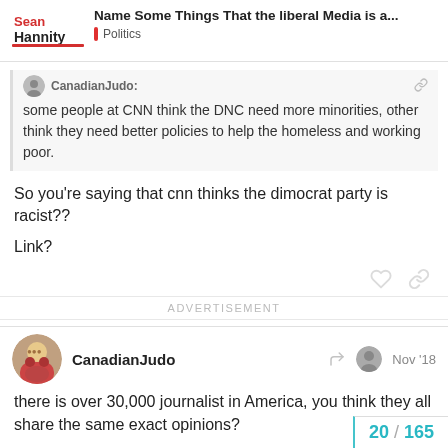Sean Hannity — Name Some Things That the liberal Media is a... — Politics
CanadianJudo: some people at CNN think the DNC need more minorities, other think they need better policies to help the homeless and working poor.
So you're saying that cnn thinks the dimocrat party is racist??
Link?
ADVERTISEMENT
CanadianJudo — Nov '18
there is over 30,000 journalist in America, you think they all share the same exact opinions?
20 / 165